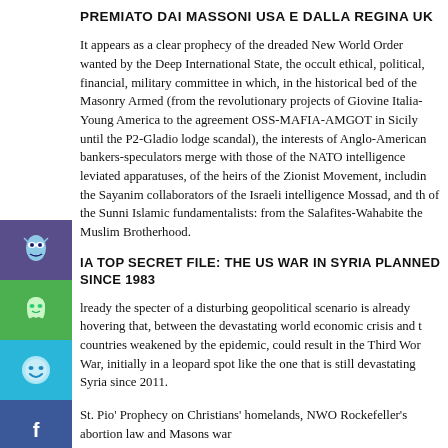PREMIATO DAI MASSONI USA E DALLA REGINA UK
It appears as a clear prophecy of the dreaded New World Order wanted by the Deep International State, the occult ethical, political, financial, military committee in which, in the historical bed of the Masonry Armed (from the revolutionary projects of Giovine Italia-Young America to the agreement OSS-MAFIA-AMGOT in Sicily until the P2-Gladio lodge scandal), the interests of Anglo-American bankers-speculators merge with those of the NATO intelligence leviated apparatuses, of the heirs of the Zionist Movement, including the Sayanim collaborators of the Israeli intelligence Mossad, and the of the Sunni Islamic fundamentalists: from the Salafites-Wahabites the Muslim Brotherhood.
IA TOP SECRET FILE: THE US WAR IN SYRIA PLANNED SINCE 1983
lready the specter of a disturbing geopolitical scenario is already hovering that, between the devastating world economic crisis and t countries weakened by the epidemic, could result in the Third Wor War, initially in a leopard spot like the one that is still devastating Syria since 2011.
St. Pio' Prophecy on Christians' homelands, NWO Rockefeller's abortion law and Masons war